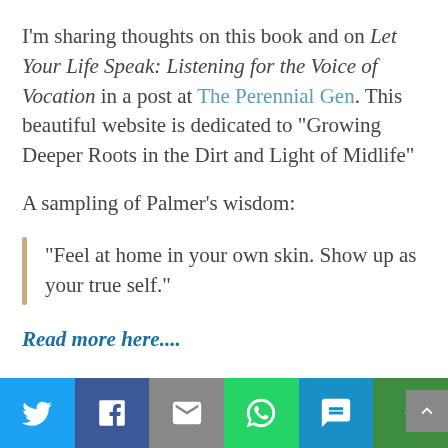I'm sharing thoughts on this book and on Let Your Life Speak: Listening for the Voice of Vocation in a post at The Perennial Gen. This beautiful website is dedicated to "Growing Deeper Roots in the Dirt and Light of Midlife"
A sampling of Palmer's wisdom:
“Feel at home in your own skin. Show up as your true self.”
Read more here....
[Figure (infographic): Social sharing bar with icons for Twitter, Facebook, Email, WhatsApp, SMS, and More options]